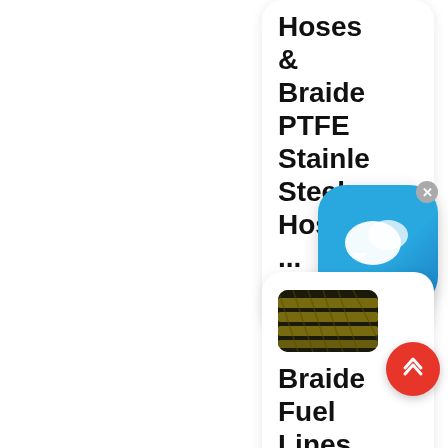Hoses & Braided PTFE Stainless Steel Hoses ... Here a
[Figure (photo): Chat bubble app icon overlay (blue rounded square with white speech bubbles) with a gray close X button in top right]
[Figure (photo): Product thumbnail showing braided fuel lines (dark yellow/black braided hoses)]
Braided Fuel Lines &
[Figure (other): Red circular scroll-to-top button with upward chevron arrows]